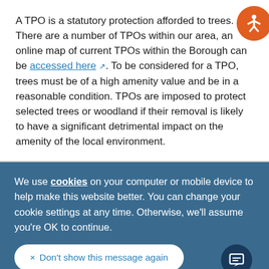A TPO is a statutory protection afforded to trees. There are a number of TPOs within our area, an online map of current TPOs within the Borough can be accessed here [external link icon]. To be considered for a TPO, trees must be of a high amenity value and be in a reasonable condition. TPOs are imposed to protect selected trees or woodland if their removal is likely to have a significant detrimental impact on the amenity of the local environment.
We use cookies on your computer or mobile device to help make this website better. You can change your cookie settings at any time. Otherwise, we'll assume you're OK to continue.